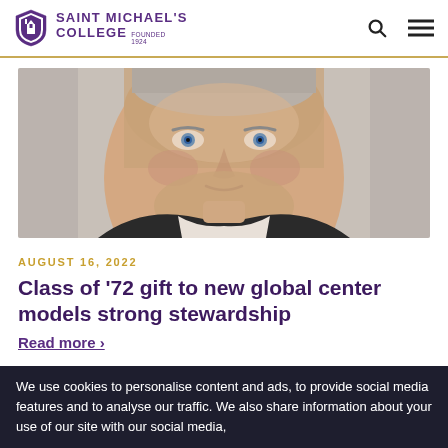Saint Michael's College Founded 1924
[Figure (photo): Headshot of an older man with light hair and blue eyes, wearing a dark suit jacket, against a light gray background.]
AUGUST 16, 2022
Class of ’72 gift to new global center models strong stewardship
Read more ›
We use cookies to personalise content and ads, to provide social media features and to analyse our traffic. We also share information about your use of our site with our social media,